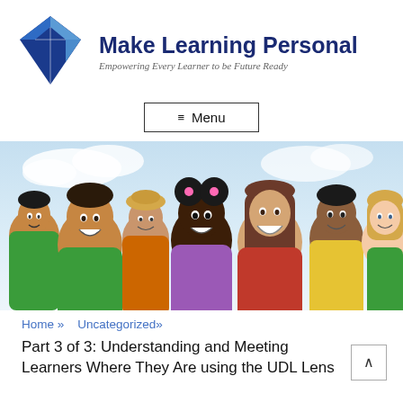[Figure (logo): Blue diamond-shaped puzzle piece logo for Make Learning Personal]
Make Learning Personal
Empowering Every Learner to be Future Ready
≡ Menu
[Figure (photo): Group of diverse smiling children posed together outdoors against a blue sky background]
Home » Uncategorized»
Part 3 of 3: Understanding and Meeting Learners Where They Are using the UDL Lens